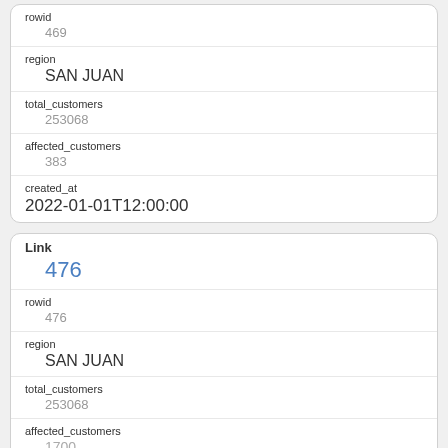| Field | Value |
| --- | --- |
| rowid | 469 |
| region | SAN JUAN |
| total_customers | 253068 |
| affected_customers | 383 |
| created_at | 2022-01-01T12:00:00 |
| Field | Value |
| --- | --- |
| Link | 476 |
| rowid | 476 |
| region | SAN JUAN |
| total_customers | 253068 |
| affected_customers | 1700 |